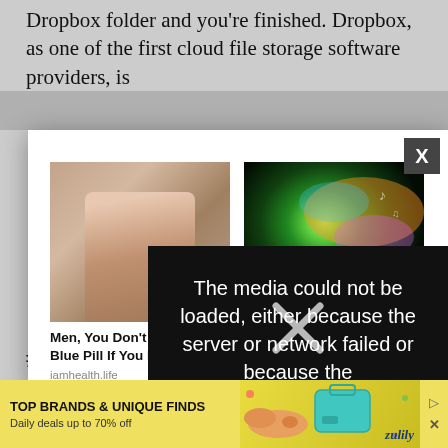Dropbox folder and you're finished. Dropbox, as one of the first cloud file storage software providers, is
[Figure (screenshot): Advertisement modal popup containing two ad cards: left card shows a woman photo with headline 'Men, You Don't Need The Blue Pill If You Do This...' from iamhealth.life; right card shows a colorful music graphic with 'TONE' label and headline '100% Free Ringtone Download' from Hiappo. Modal has an X close button in upper right corner.]
[Figure (screenshot): Black video error overlay reading 'The media could not be loaded, either because the server or network failed or because the' with a large X mark overlaid]
[Figure (screenshot): Bottom advertisement banner with yellow background reading 'TOP BRANDS & UNIQUE FINDS - Daily deals up to 70% off' with Zulily branding and product images]
#10